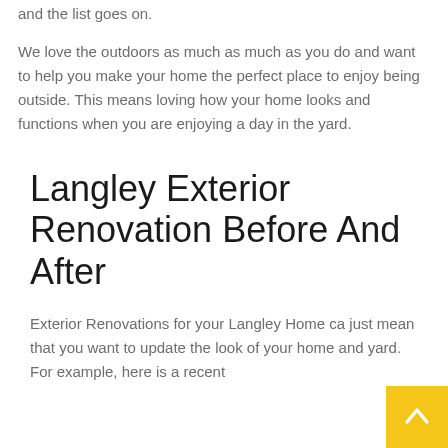and the list goes on.
We love the outdoors as much as much as you do and want to help you make your home the perfect place to enjoy being outside. This means loving how your home looks and functions when you are enjoying a day in the yard.
Langley Exterior Renovation Before And After
Exterior Renovations for your Langley Home ca just mean that you want to update the look of your home and yard. For example, here is a recent